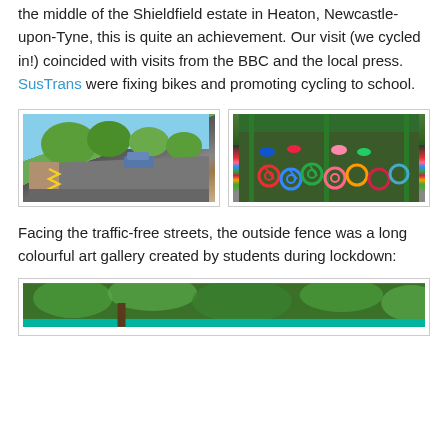the middle of the Shieldfield estate in Heaton, Newcastle-upon-Tyne, this is quite an achievement. Our visit (we cycled in!) coincided with visits from the BBC and the local press. SusTrans were fixing bikes and promoting cycling to school.
[Figure (photo): A street scene showing a road with yellow zigzag markings, trees lining the pavement, and a car visible in the background under a blue sky.]
[Figure (photo): A covered bike storage area with many colourful children's bikes and scooters crammed together under a green metal frame shelter.]
Facing the traffic-free streets, the outside fence was a long colourful art gallery created by students during lockdown:
[Figure (photo): A partial view of an outdoor art gallery or fence mural with green foliage and colourful artwork created by students during lockdown.]